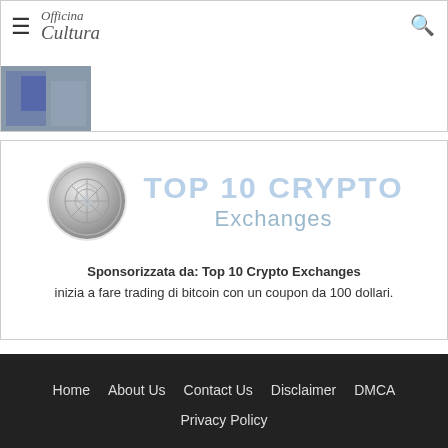Officina Cultura
Regionali in Sicilia: ai ferri corti Pd e M5S. la rotta rischia di finire in tribunale
[Figure (illustration): Newspaper website screenshot with logo 'Officina Cultura', hamburger menu, search icon, and article image]
[Figure (logo): Top 10 Crypto Exchanges logo with silver coin and light blue text]
Sponsorizzata da: Top 10 Crypto Exchanges inizia a fare trading di bitcoin con un coupon da 100 dollari.
Home  About Us  Contact Us  Disclaimer  DMCA  Privacy Policy